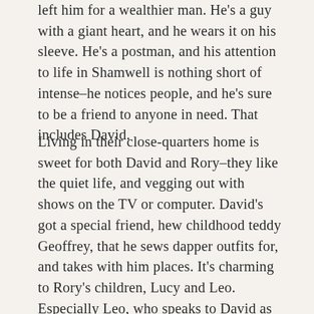left him for a wealthier man. He's a guy with a giant heart, and he wears it on his sleeve. He's a postman, and his attention to life in Shamwell is nothing short of intense–he notices people, and he's sure to be a friend to anyone in need. That includes David.
Living in their close-quarters home is sweet for both David and Rory–they like the quiet life, and vegging out with shows on the TV or computer. David's got a special friend, hew childhood teddy Geoffrey, that he sews dapper outfits for, and takes with him places. It's charming to Rory's children, Lucy and Leo. Especially Leo, who speaks to David as if they are old friends, when he doesn't normally speak to anyone but Lucy, and certainly never to his overbearing stepfather. Rory has a decent relationship with his ex-wife, and wants more time